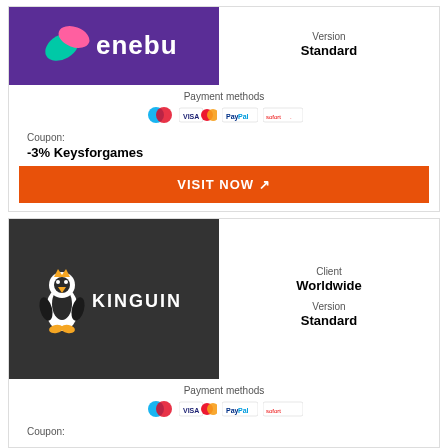[Figure (logo): Enebu logo on purple background]
Version
Standard
Payment methods
[Figure (infographic): Payment method icons: Maestro, Visa/Mastercard, PayPal, Sofort]
Coupon:
-3% Keysforgames
VISIT NOW ↗
[Figure (logo): Kinguin logo on dark background with penguin mascot]
Client
Worldwide
Version
Standard
Payment methods
[Figure (infographic): Payment method icons: Maestro, Visa/Mastercard, PayPal, Sofort]
Coupon: